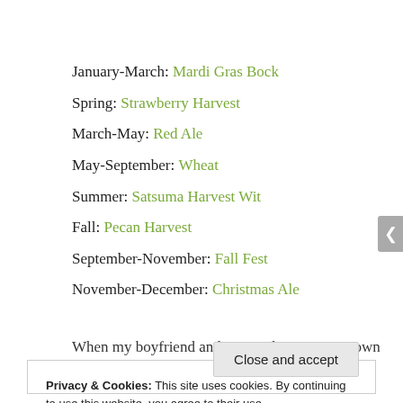January-March: Mardi Gras Bock
Spring: Strawberry Harvest
March-May: Red Ale
May-September: Wheat
Summer: Satsuma Harvest Wit
Fall: Pecan Harvest
September-November: Fall Fest
November-December: Christmas Ale
When my boyfriend and I moved into our Uptown
Privacy & Cookies: This site uses cookies. By continuing to use this website, you agree to their use.
To find out more, including how to control cookies, see here: Cookie Policy